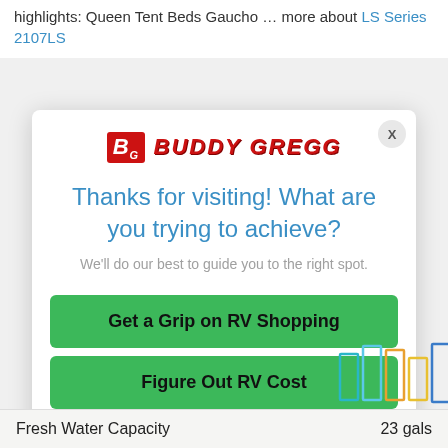highlights: Queen Tent Beds Gaucho … more about LS Series 2107LS
[Figure (screenshot): Buddy Gregg modal popup with logo, heading 'Thanks for visiting! What are you trying to achieve?', subtitle 'We'll do our best to guide you to the right spot.', and green CTA buttons 'Get a Grip on RV Shopping' and 'Figure Out RV Cost', with a close X button]
Fresh Water Capacity    23 gals